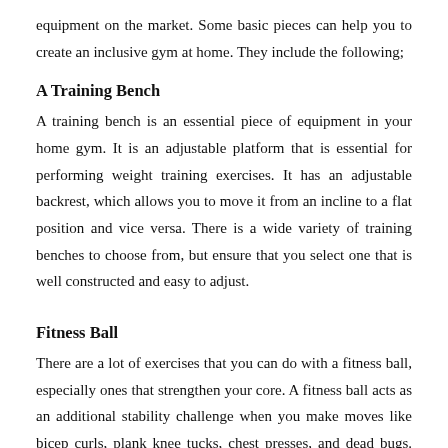equipment on the market. Some basic pieces can help you to create an inclusive gym at home. They include the following;
A Training Bench
A training bench is an essential piece of equipment in your home gym. It is an adjustable platform that is essential for performing weight training exercises. It has an adjustable backrest, which allows you to move it from an incline to a flat position and vice versa. There is a wide variety of training benches to choose from, but ensure that you select one that is well constructed and easy to adjust.
Fitness Ball
There are a lot of exercises that you can do with a fitness ball, especially ones that strengthen your core. A fitness ball acts as an additional stability challenge when you make moves like bicep curls, plank knee tucks, chest presses, and dead bugs. You should consider adding this multifunctional piece of